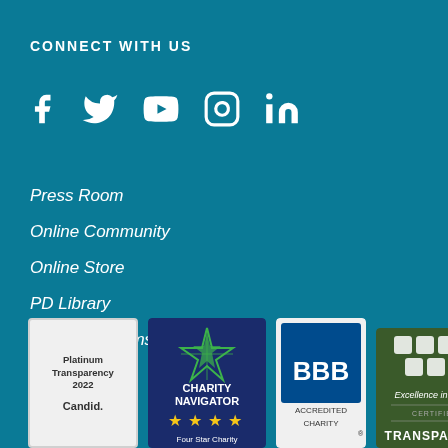CONNECT WITH US
[Figure (other): Social media icons: Facebook, Twitter, YouTube, Instagram, LinkedIn]
Press Room
Online Community
Online Store
PD Library
Privacy & Terms
Contact Us
[Figure (logo): Candid Platinum Transparency 2022 badge]
[Figure (logo): Charity Navigator Four Star Charity badge]
[Figure (logo): BBB Accredited Charity badge]
[Figure (logo): Excellence in Giving Certified Transparent badge]